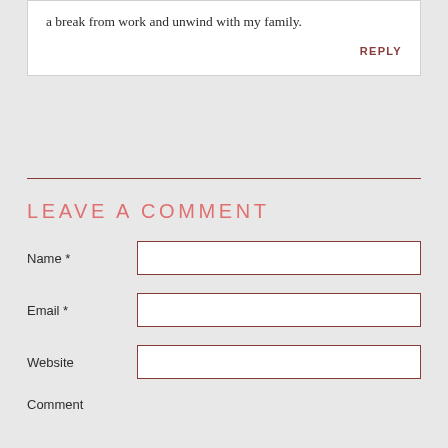a break from work and unwind with my family.
REPLY
LEAVE A COMMENT
Name *
Email *
Website
Comment